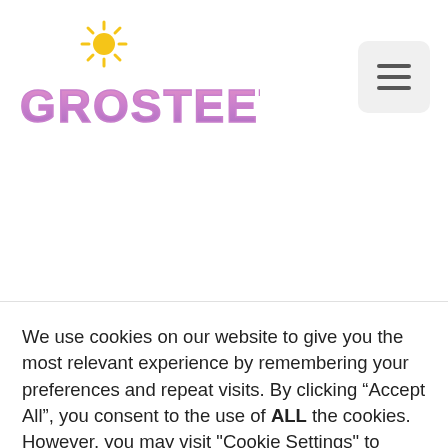[Figure (logo): Grosteetee logo with sun icon above colorful purple/pink bold text 'GROSTEETEE']
[Figure (other): Hamburger menu button (three horizontal lines) on a light gray rounded square background]
We use cookies on our website to give you the most relevant experience by remembering your preferences and repeat visits. By clicking “Accept All”, you consent to the use of ALL the cookies. However, you may visit "Cookie Settings" to provide a controlled consent.
Cookie Settings
Accept All